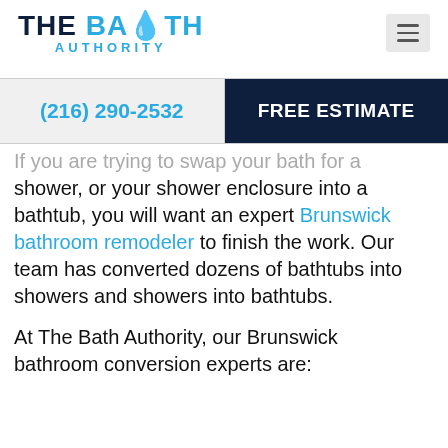THE BATH AUTHORITY
(216) 290-2532
FREE ESTIMATE
If you are trying to swap your bath for a shower, or your shower enclosure into a bathtub, you will want an expert Brunswick bathroom remodeler to finish the work. Our team has converted dozens of bathtubs into showers and showers into bathtubs.
At The Bath Authority, our Brunswick bathroom conversion experts are: